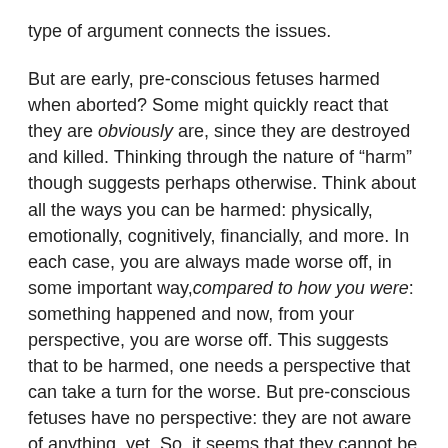type of argument connects the issues.
But are early, pre-conscious fetuses harmed when aborted? Some might quickly react that they are obviously are, since they are destroyed and killed. Thinking through the nature of “harm” though suggests perhaps otherwise. Think about all the ways you can be harmed: physically, emotionally, cognitively, financially, and more. In each case, you are always made worse off, in some important way,compared to how you were: something happened and now, from your perspective, you are worse off. This suggests that to be harmed, one needs a perspective that can take a turn for the worse. But pre-conscious fetuses have no perspective: they are not aware of anything, yet. So, it seems that they cannot be made worse off, compared to how they were, since they never “were” in a conscious way. Later conscious and feeling fetuses can be harmed, but not early fetuses, it seems.
In reply, it must be observed that abortion usually results in a future person not being born: because of an abortion, there is some future